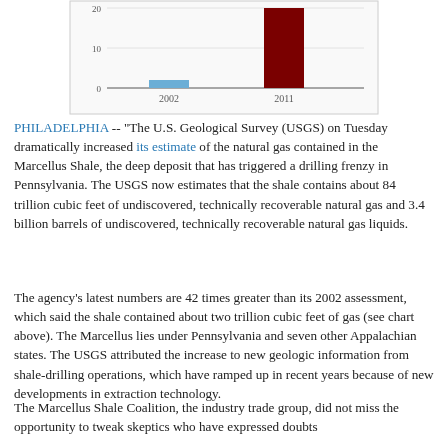[Figure (bar-chart): Marcellus Shale Natural Gas Estimates]
PHILADELPHIA -- "The U.S. Geological Survey (USGS) on Tuesday dramatically increased its estimate of the natural gas contained in the Marcellus Shale, the deep deposit that has triggered a drilling frenzy in Pennsylvania. The USGS now estimates that the shale contains about 84 trillion cubic feet of undiscovered, technically recoverable natural gas and 3.4 billion barrels of undiscovered, technically recoverable natural gas liquids.
The agency's latest numbers are 42 times greater than its 2002 assessment, which said the shale contained about two trillion cubic feet of gas (see chart above). The Marcellus lies under Pennsylvania and seven other Appalachian states. The USGS attributed the increase to new geologic information from shale-drilling operations, which have ramped up in recent years because of new developments in extraction technology.
The Marcellus Shale Coalition, the industry trade group, did not miss the opportunity to tweak skeptics who have expressed doubts about the potential of this...